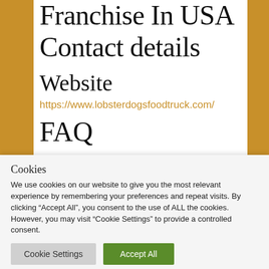Franchise In USA Contact details
Website
https://www.lobsterdogsfoodtruck.com/
FAQ
Cookies
We use cookies on our website to give you the most relevant experience by remembering your preferences and repeat visits. By clicking “Accept All”, you consent to the use of ALL the cookies. However, you may visit “Cookie Settings” to provide a controlled consent.
Cookie Settings | Accept All